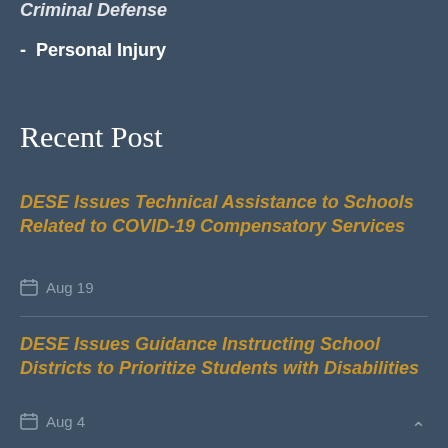Criminal Defense
Personal Injury
Recent Post
DESE Issues Technical Assistance to Schools Related to COVID-19 Compensatory Services
Aug 19
DESE Issues Guidance Instructing School Districts to Prioritize Students with Disabilities
Aug 4